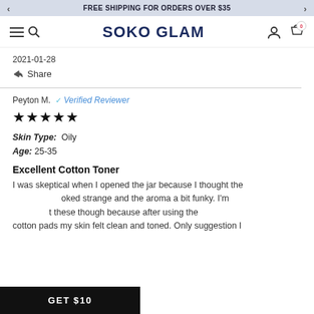FREE SHIPPING FOR ORDERS OVER $35
[Figure (logo): Soko Glam navigation header with hamburger menu, search icon, SOKO GLAM logo, user icon, and cart icon with 0 badge]
2021-01-28
Share
Peyton M. ✓ Verified Reviewer
★★★★★
Skin Type: Oily
Age: 25-35
Excellent Cotton Toner
I was skeptical when I opened the jar because I thought the [product] looked strange and the aroma a bit funky. I'm [happy about] these though because after using the cotton pads my skin felt clean and toned. Only suggestion I
GET $10